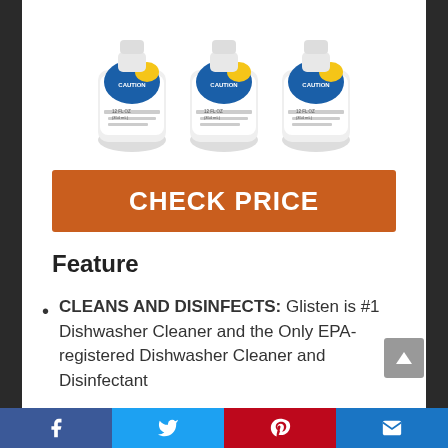[Figure (photo): Three white plastic bottles of Glisten Dishwasher Cleaner with blue and yellow labels, shown side by side]
CHECK PRICE
Feature
CLEANS AND DISINFECTS: Glisten is #1 Dishwasher Cleaner and the Only EPA-registered Dishwasher Cleaner and Disinfectant
POWERFUL CLEANER: Removes Rust and Buildup Caused by Hard
[Figure (infographic): Social media share bar at bottom with Facebook, Twitter, Pinterest, and Email icons]